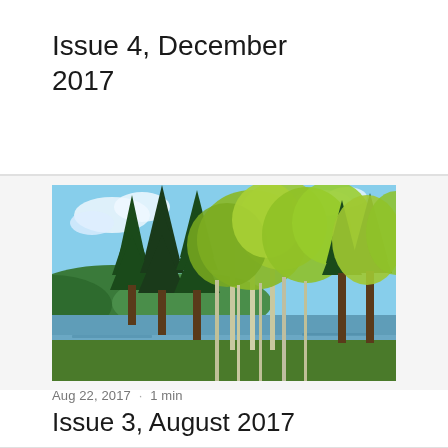Issue 4, December 2017
[Figure (photo): Forest scene with tall pine and birch trees reflecting on a calm lake, lush green foliage under a partly cloudy sky]
Aug 22, 2017 · 1 min
Issue 3, August 2017